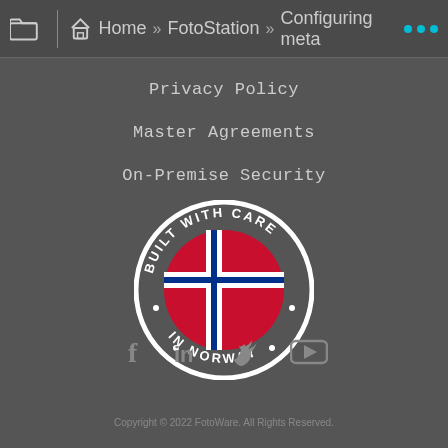Home » FotoStation » Configuring meta...
Privacy Policy
Master Agreements
On-Premise Security
SLA
[Figure (logo): Built With Care In Norway badge — circular white-bordered badge with Norwegian flag (red background, white and blue cross) in center, text 'BUILT WITH CARE • IN NORWAY •' around the perimeter]
[Figure (illustration): Social media icons: Facebook (f), LinkedIn (in), Twitter (bird), YouTube (play button)]
Copyright © 2022 FotoWare. All Rights Reserved.